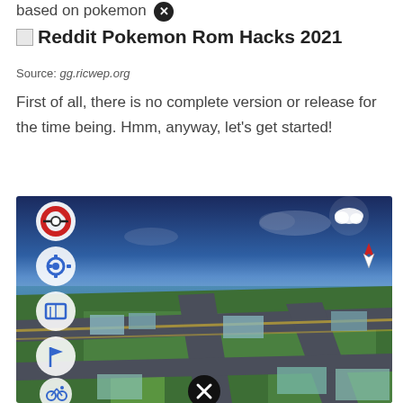based on pokemon
Reddit Pokemon Rom Hacks 2021
Source: gg.ricwep.org
First of all, there is no complete version or release for the time being. Hmm, anyway, let's get started!
[Figure (screenshot): Pokemon GO mobile game screenshot showing a 3D map view with streets, green areas, and water. Left side has circular UI buttons including Pokeball, settings gear, map, flag, bicycle/location, 1x zoom, and walking figure icons. Top right shows a cloud icon and compass/location arrow in red and white. Bottom center shows a close (X) button.]